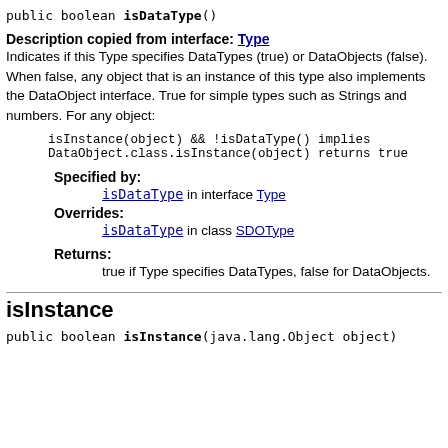public boolean isDataType()
Description copied from interface: Type
Indicates if this Type specifies DataTypes (true) or DataObjects (false). When false, any object that is an instance of this type also implements the DataObject interface. True for simple types such as Strings and numbers. For any object:
Specified by:
    isDataType in interface Type
Overrides:
    isDataType in class SDOType
Returns:
    true if Type specifies DataTypes, false for DataObjects.
isInstance
public boolean isInstance(java.lang.Object object)